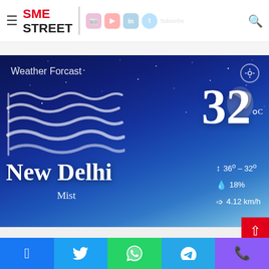SME STREET — navigation header with logo, social icons, and search
[Figure (screenshot): Weather forecast widget showing New Delhi weather: 32°C, Mist, 36°–32°, 18% humidity, 4.12 km/h wind, on a dark blue night-sky background with wind wave icon]
Weather Forcast
New Delhi
Mist
32°C
↕ 36° – 32°
💧 18%
➩ 4.12 km/h
Social share buttons: Facebook, Twitter, WhatsApp, Telegram, Phone